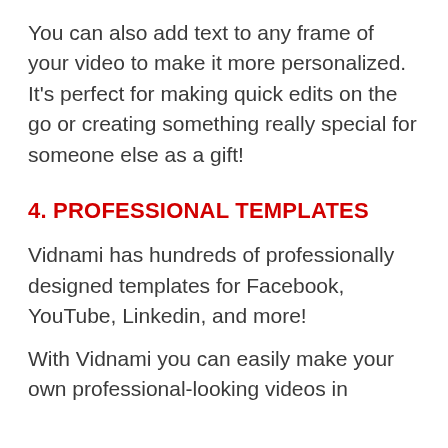You can also add text to any frame of your video to make it more personalized. It's perfect for making quick edits on the go or creating something really special for someone else as a gift!
4. PROFESSIONAL TEMPLATES
Vidnami has hundreds of professionally designed templates for Facebook, YouTube, Linkedin, and more!
With Vidnami you can easily make your own professional-looking videos in